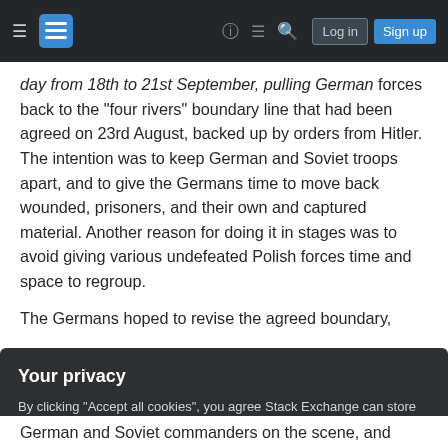Stack Exchange navigation bar with hamburger menu, logo, help, chat, search, log in and sign up buttons
day from 18th to 21st September, pulling German forces back to the "four rivers" boundary line that had been agreed on 23rd August, backed up by orders from Hitler. The intention was to keep German and Soviet troops apart, and to give the Germans time to move back wounded, prisoners, and their own and captured material. Another reason for doing it in stages was to avoid giving various undefeated Polish forces time and space to regroup.
The Germans hoped to revise the agreed boundary,
Your privacy
By clicking "Accept all cookies", you agree Stack Exchange can store cookies on your device and disclose information in accordance with our Cookie Policy.
Accept all cookies
Customize settings
German and Soviet commanders on the scene, and